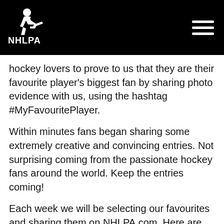[Figure (logo): NHLPA logo with hockey player silhouette on black header bar, with hamburger menu icon on the right]
hockey lovers to prove to us that they are their favourite player's biggest fan by sharing photo evidence with us, using the hashtag #MyFavouritePlayer.
Within minutes fans began sharing some extremely creative and convincing entries. Not surprising coming from the passionate hockey fans around the world. Keep the entries coming!
Each week we will be selecting our favourites and sharing them on NHLPA.com. Here are some of the standout submissions from the fan showdown so far:
@NHLPA #MyFavouritePlayer @Holts170
#boltboost #capitals I have a much bigger